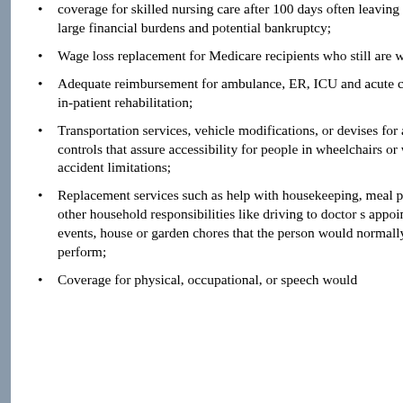coverage for skilled nursing care after 100 days often leaving families with large financial burdens and potential bankruptcy;
Wage loss replacement for Medicare recipients who still are working.
Adequate reimbursement for ambulance, ER, ICU and acute care as well as in-patient rehabilitation;
Transportation services, vehicle modifications, or devises for assistive driving controls that assure accessibility for people in wheelchairs or with other post-accident limitations;
Replacement services such as help with housekeeping, meal preparation, and other household responsibilities like driving to doctor s appointments or events, house or garden chores that the person would normally be able to perform;
Coverage for physical, occupational, or speech would